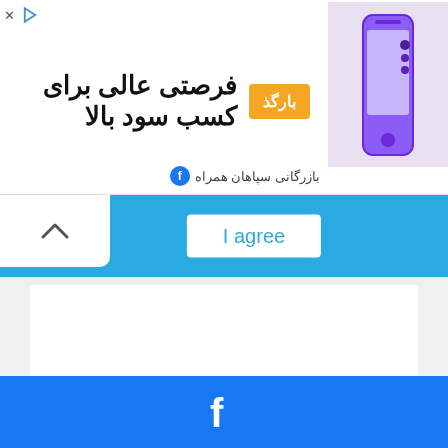[Figure (screenshot): Advertisement banner with Persian text 'فرصتی عالی برای کسب سود بالا' (Excellent opportunity to earn high profit) and an orange button with text, alongside a purple iPhone image and text 'بازرگانی سپاهان همراه']
[Figure (screenshot): Blue toolbar/bar with a white upward chevron on the left and an 'I agree' button in the center]
[Figure (screenshot): White content area - blank page content area]
[Figure (screenshot): Blue footer bar with white Facebook 'f' logo in the center]